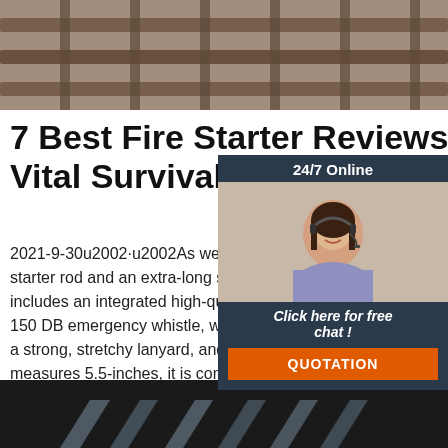[Figure (photo): Top partial photo: metal grate or grid surface, warm brownish tones]
7 Best Fire Starter Reviews: Vital Survival Tools for
2021-9-30u2002·u2002As well as the main starter rod and an extra-long striker, the includes an integrated high-quality comp 150 DB emergency whistle, which is con a strong, stretchy lanyard, and as the fire measures 5.5-inches, it is compact and convenient.
[Figure (photo): Chat widget with 24/7 Online header, female agent with headset, Click here for free chat, QUOTATION button]
[Figure (other): TOP navigation icon with orange dots arranged as upward arrow above the text TOP in orange]
[Figure (photo): Bottom partial photo: dark background with light-colored angled geometric shapes]
Get Price